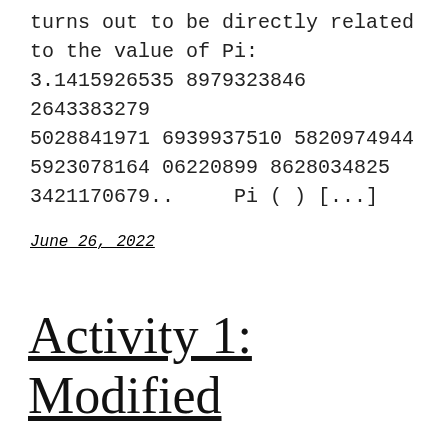turns out to be directly related to the value of Pi: 3.1415926535 8979323846 2643383279 5028841971 6939937510 5820974944 5923078164 06220899 8628034825 3421170679..   Pi ( ) [...]
June 26, 2022
Activity 1: Modified